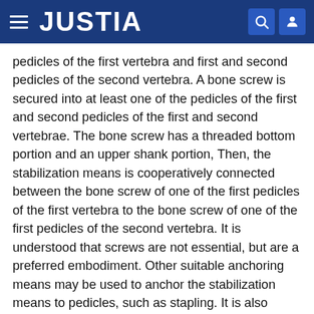JUSTIA
pedicles of the first vertebra and first and second pedicles of the second vertebra. A bone screw is secured into at least one of the pedicles of the first and second pedicles of the first and second vertebrae. The bone screw has a threaded bottom portion and an upper shank portion, Then, the stabilization means is cooperatively connected between the bone screw of one of the first pedicles of the first vertebra to the bone screw of one of the first pedicles of the second vertebra. It is understood that screws are not essential, but are a preferred embodiment. Other suitable anchoring means may be used to anchor the stabilization means to pedicles, such as stapling. It is also understood that multiple segments may be stabilized.
BRIEF DESCRIPTION OF THE DRAWINGS